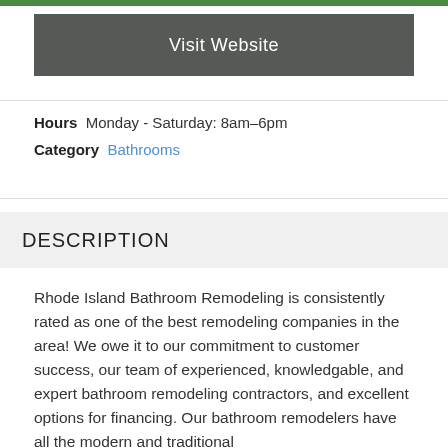Visit Website
Hours  Monday - Saturday: 8am–6pm
Category  Bathrooms
DESCRIPTION
Rhode Island Bathroom Remodeling is consistently rated as one of the best remodeling companies in the area! We owe it to our commitment to customer success, our team of experienced, knowledgable, and expert bathroom remodeling contractors, and excellent options for financing. Our bathroom remodelers have all the modern and traditional